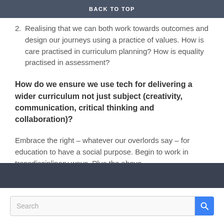BACK TO TOP
her Scrabble bot, Zoe.
2. Realising that we can both work towards outcomes and design our journeys using a practice of values. How is care practised in curriculum planning? How is equality practised in assessment?
How do we ensure we use tech for delivering a wider curriculum not just subject (creativity, communication, critical thinking and collaboration)?
Embrace the right – whatever our overlords say – for education to have a social purpose. Begin to work in transdisciplinary ways. Plus the above.
June 23, 2021    Leave a comment
Search